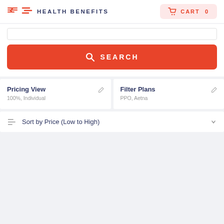HEALTH BENEFITS   CART 0
[Figure (screenshot): Search button UI element with magnifying glass icon and SEARCH label on red background]
Pricing View
100%, Individual
Filter Plans
PPO, Aetna
Sort by Price (Low to High)